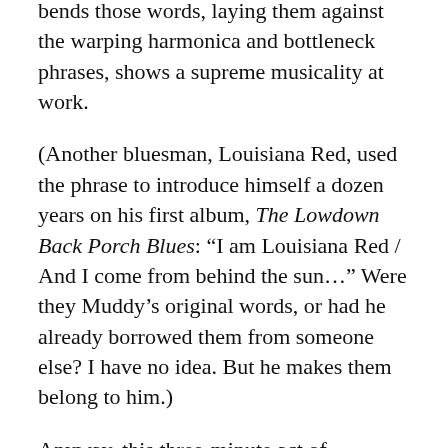bends those words, laying them against the warping harmonica and bottleneck phrases, shows a supreme musicality at work.
(Another bluesman, Louisiana Red, used the phrase to introduce himself a dozen years on his first album, The Lowdown Back Porch Blues: “I am Louisiana Red / And I come from behind the sun…” Were they Muddy’s original words, or had he already borrowed them from someone else? I have no idea. But he makes them belong to him.)
Anyway, this three-minute act of perfection, characterised by a wonderfully delicate balance of interplay which we white boys of the 1960s could hope to do no more than crudely approximate, gave Muddy his first Top 10 hit in the R&B chart in February 1951, which says something about the good taste of his public. Now it’s hard to imagine a